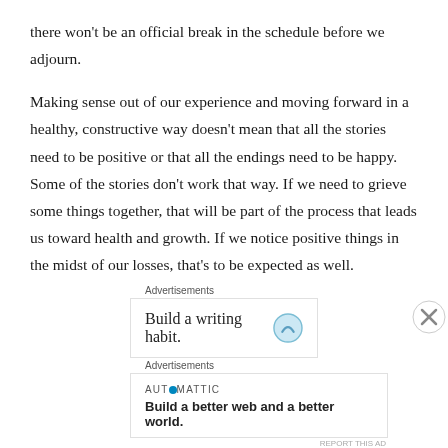there won't be an official break in the schedule before we adjourn.
Making sense out of our experience and moving forward in a healthy, constructive way doesn't mean that all the stories need to be positive or that all the endings need to be happy. Some of the stories don't work that way. If we need to grieve some things together, that will be part of the process that leads us toward health and growth. If we notice positive things in the midst of our losses, that's to be expected as well.
[Figure (other): Advertisement banner: 'Build a writing habit.' with a blue icon, and a close button]
[Figure (other): Advertisement: Automattic logo with tagline 'Build a better web and a better world.']